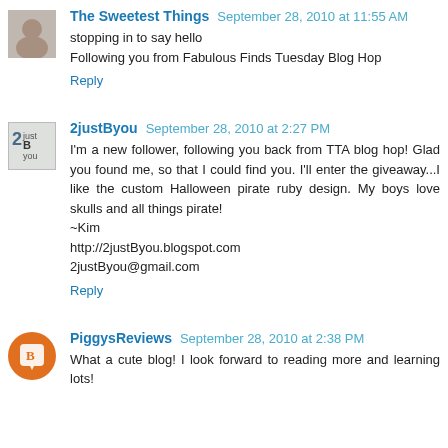The Sweetest Things  September 28, 2010 at 11:55 AM
stopping in to say hello
Following you from Fabulous Finds Tuesday Blog Hop
Reply
2justByou  September 28, 2010 at 2:27 PM
I'm a new follower, following you back from TTA blog hop! Glad you found me, so that I could find you. I'll enter the giveaway...I like the custom Halloween pirate ruby design. My boys love skulls and all things pirate!
~Kim
http://2justByou.blogspot.com
2justByou@gmail.com
Reply
PiggysReviews  September 28, 2010 at 2:38 PM
What a cute blog! I look forward to reading more and learning lots!